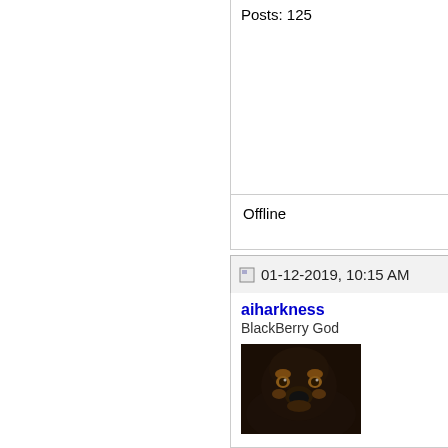Posts: 125
Offline
01-12-2019, 10:15 AM
aiharkness
BlackBerry God
[Figure (photo): Profile avatar showing a dark-colored dog (appears to be a Rottweiler or similar breed) photographed close-up]
Join Date: Jul 2005
Location: Florida Panhandle
Model: BBPP
OS: 10.3.3
Carrier: TMobile USA